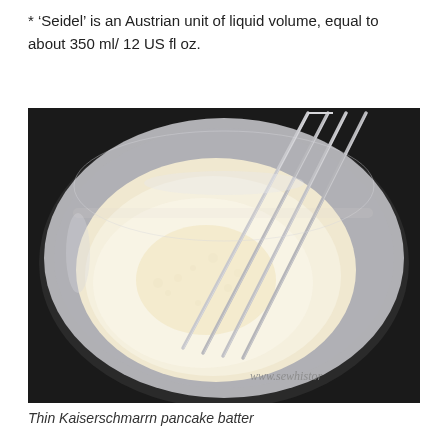* 'Seidel' is an Austrian unit of liquid volume, equal to about 350 ml/ 12 US fl oz.
[Figure (photo): A clear plastic bowl containing thin pale cream-colored pancake batter with a metal whisk resting inside. The bowl is viewed from above against a dark background. A watermark reads 'www.sewhistory...' in the lower right corner.]
Thin Kaiserschmarrn pancake batter